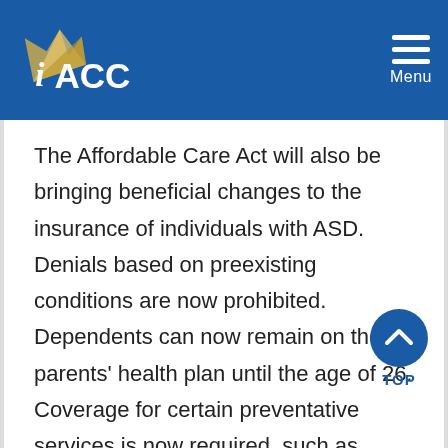IACC Menu
The Affordable Care Act will also be bringing beneficial changes to the insurance of individuals with ASD. Denials based on preexisting conditions are now prohibited. Dependents can now remain on their parents' health plan until the age of 26. Coverage for certain preventative services is now required, such as screening for autism and developmental delays and other disabilities.
A lot of progress has been made in the last few years alone, but work is still needed, especially in convincing the 28 remaining